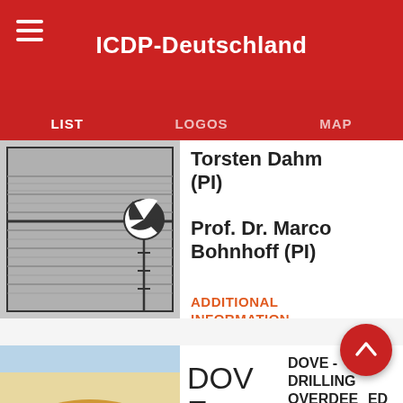ICDP-Deutschland
LIST | LOGOS | MAP
Torsten Dahm (PI)
Prof. Dr. Marco Bohnhoff (PI)
ADDITIONAL INFORMATION
[Figure (schematic): Seismic/borehole diagram showing horizontal layers and a sensor/detector symbol (checkered ball) with horizontal lines]
[Figure (map): Topographic map of the Alpine region showing mountain ranges in red and gold/brown relief, with red fault/tectonic lines marked across the region]
DOV E
DOVE - DRILLING OVERDEEPENED ALPINE basins
Prof. Dr. Frank Preusser (PI)